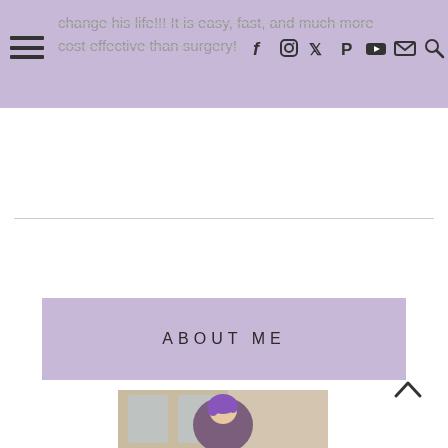change his life!!! It is easy, fast, and much more cost effective than surgery!
ABOUT ME
[Figure (photo): Portrait photo of a woman with short purple hair, smiling, wearing a floral top, standing in front of a building with large windows.]